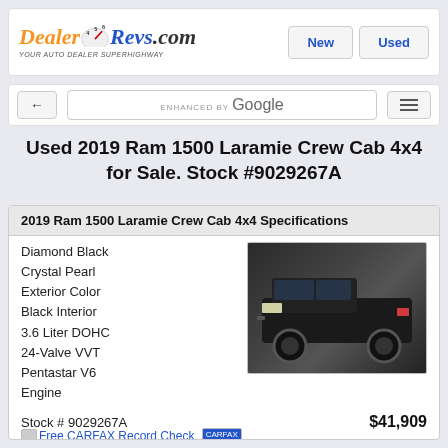[Figure (logo): DealerRevs.com logo with speedometer graphic and tagline 'Your Auto Dealer SuperHighway']
New | Used
← | ENHANCED BY Google | ≡
Used 2019 Ram 1500 Laramie Crew Cab 4x4 for Sale. Stock #9029267A
2019 Ram 1500 Laramie Crew Cab 4x4 Specifications
Diamond Black Crystal Pearl Exterior Color
Black Interior
3.6 Liter DOHC
24-Valve VVT Pentastar V6 Engine
[Figure (photo): Black 2019 Ram 1500 Laramie Crew Cab 4x4 truck parked indoors, three-quarter front view]
Free CARFAX Record Check | CARFAX
8 Speed Automatic Transmission
Stock # 9029267A	$41,909